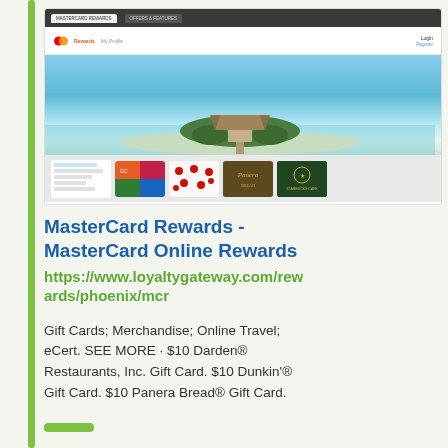[Figure (screenshot): Screenshot of MasterCard Rewards website (loyaltygateway.com) showing a header with Mastercard logo and navigation, a hero image of a tropical overwater bungalow resort, and a bottom section displaying gift card thumbnails including colorful branded cards, a cherry-pattern card, Panera Bread card, and Starbucks card.]
MasterCard Rewards - MasterCard Online Rewards
https://www.loyaltygateway.com/rewards/phoenix/mcr
Gift Cards; Merchandise; Online Travel; eCert. SEE MORE · $10 Darden® Restaurants, Inc. Gift Card. $10 Dunkin'® Gift Card. $10 Panera Bread® Gift Card.